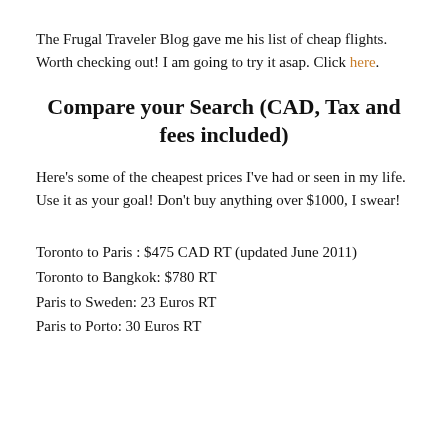The Frugal Traveler Blog gave me his list of cheap flights. Worth checking out! I am going to try it asap. Click here.
Compare your Search (CAD, Tax and fees included)
Here's some of the cheapest prices I've had or seen in my life. Use it as your goal! Don't buy anything over $1000, I swear!
Toronto to Paris : $475 CAD RT (updated June 2011)
Toronto to Bangkok: $780 RT
Paris to Sweden: 23 Euros RT
Paris to Porto: 30 Euros RT